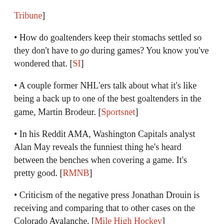Tribune]
How do goaltenders keep their stomachs settled so they don't have to go during games? You know you've wondered that. [SI]
A couple former NHL'ers talk about what it's like being a back up to one of the best goaltenders in the game, Martin Brodeur. [Sportsnet]
In his Reddit AMA, Washington Capitals analyst Alan May reveals the funniest thing he's heard between the benches when covering a game. It's pretty good. [RMNB]
Criticism of the negative press Jonathan Drouin is receiving and comparing that to other cases on the Colorado Avalanche. [Mile High Hockey]
Johnny Gaudreau and Taylor Hall were dynamite